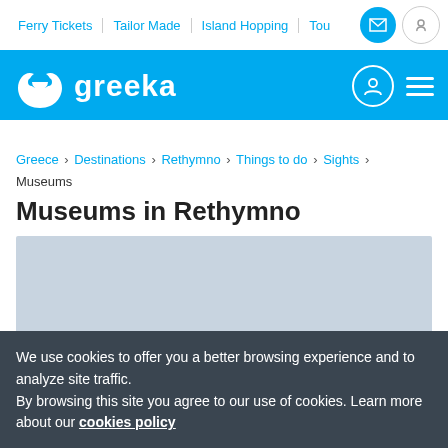Ferry Tickets | Tailor Made | Island Hopping | Tou
[Figure (logo): Greeka logo with white swirl heart icon on blue background header]
Greece > Destinations > Rethymno > Things to do > Sights > Museums
Museums in Rethymno
[Figure (photo): Light blue-gray placeholder image for Museums in Rethymno]
We use cookies to offer you a better browsing experience and to analyze site traffic. By browsing this site you agree to our use of cookies. Learn more about our cookies policy